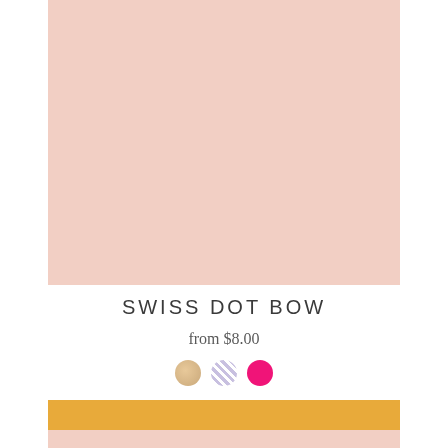[Figure (photo): Product image placeholder — solid blush/peach pink background representing a Swiss Dot Bow product]
SWISS DOT BOW
from $8.00
[Figure (other): Three color swatch circles: nude/gold, lavender stripe, hot pink]
MENU